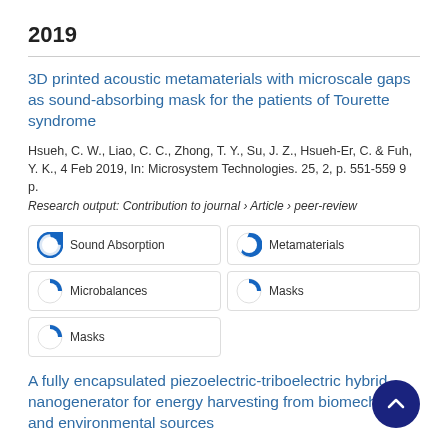2019
3D printed acoustic metamaterials with microscale gaps as sound-absorbing mask for the patients of Tourette syndrome
Hsueh, C. W., Liao, C. C., Zhong, T. Y., Su, J. Z., Hsueh-Er, C. & Fuh, Y. K., 4 Feb 2019, In: Microsystem Technologies. 25, 2, p. 551-559 9 p.
Research output: Contribution to journal › Article › peer-review
[Figure (infographic): Keyword badges: Sound Absorption (100%), Metamaterials (75%), Microbalances (50%), Masks (50%), Masks (50%)]
A fully encapsulated piezoelectric-triboelectric hybrid nanogenerator for energy harvesting from biomechanical and environmental sources